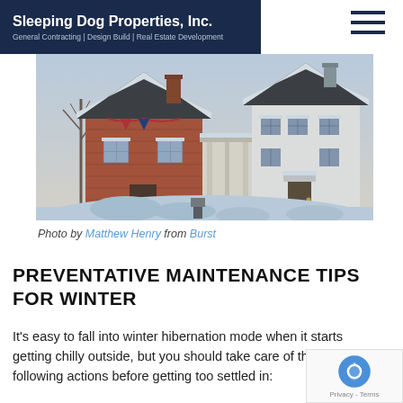Sleeping Dog Properties, Inc. | General Contracting | Design Build | Real Estate Development
[Figure (photo): Winter scene of a snow-covered house with red brick and white siding, trees without leaves, snow on ground and cars]
Photo by Matthew Henry from Burst
PREVENTATIVE MAINTENANCE TIPS FOR WINTER
It's easy to fall into winter hibernation mode when it starts getting chilly outside, but you should take care of the following actions before getting too settled in: